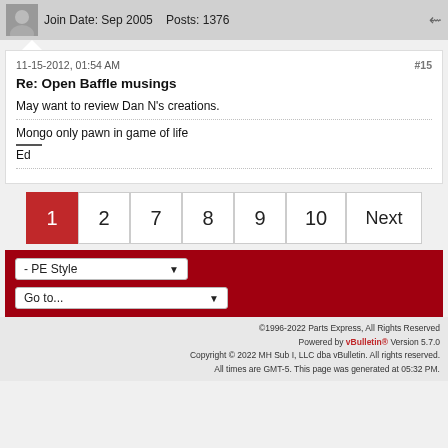Join Date: Sep 2005   Posts: 1376
11-15-2012, 01:54 AM   #15
Re: Open Baffle musings
May want to review Dan N's creations.
Mongo only pawn in game of life
Ed
1  2  7  8  9  10  Next
- PE Style
Go to...
©1996-2022 Parts Express, All Rights Reserved
Powered by vBulletin® Version 5.7.0
Copyright © 2022 MH Sub I, LLC dba vBulletin. All rights reserved.
All times are GMT-5. This page was generated at 05:32 PM.